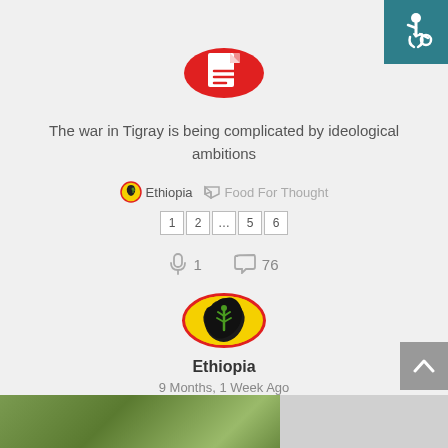[Figure (logo): Accessibility icon (wheelchair symbol) on teal background, top-right corner]
[Figure (illustration): Red circle with white document/file icon in the center]
The war in Tigray is being complicated by ideological ambitions
Ethiopia   Food For Thought
1 2 ... 5 6
🎤 1   💬 76
[Figure (logo): Ethiopia logo: yellow circle with red border showing black Africa map silhouette with green baobab tree]
Ethiopia
9 Months, 1 Week Ago
[Figure (photo): Partial bottom strip showing green foliage/nature photo]